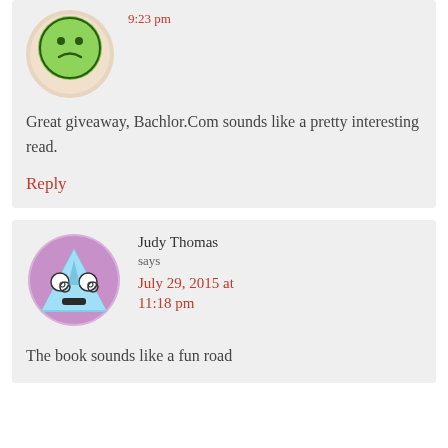Great giveaway, Bachlor.Com sounds like a pretty interesting read.
Reply
Judy Thomas says July 29, 2015 at 11:18 pm
The book sounds like a fun road